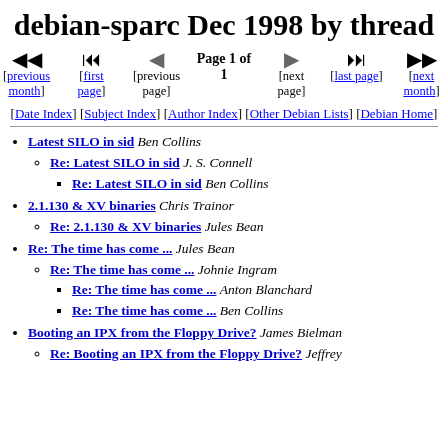debian-sparc Dec 1998 by thread
Page 1 of 1 [previous month] [first page] [previous page] [next page] [last page] [next month]
[Date Index] [Subject Index] [Author Index] [Other Debian Lists] [Debian Home]
Latest SILO in sid Ben Collins
Re: Latest SILO in sid J. S. Connell
Re: Latest SILO in sid Ben Collins
2.1.130 & XV binaries Chris Trainor
Re: 2.1.130 & XV binaries Jules Bean
Re: The time has come ... Jules Bean
Re: The time has come ... Johnie Ingram
Re: The time has come ... Anton Blanchard
Re: The time has come ... Ben Collins
Booting an IPX from the Floppy Drive? James Bielman
Re: Booting an IPX from the Floppy Drive? Jeffrey